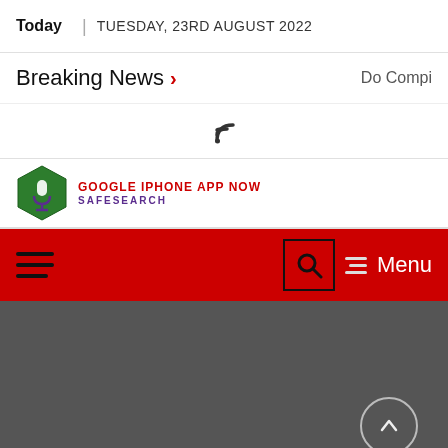Today | TUESDAY, 23RD AUGUST 2022
Breaking News >
Do Compi
[Figure (other): RSS feed icon]
[Figure (logo): Google iPhone App Now SafeSearch hexagon logo with microphone icon]
[Figure (screenshot): Red navigation bar with hamburger menu on left, search box and Menu label on right]
[Figure (other): Dark gray content area with circular scroll-up arrow button in bottom right]